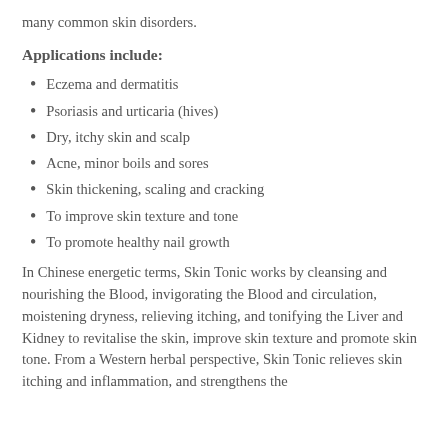many common skin disorders.
Applications include:
Eczema and dermatitis
Psoriasis and urticaria (hives)
Dry, itchy skin and scalp
Acne, minor boils and sores
Skin thickening, scaling and cracking
To improve skin texture and tone
To promote healthy nail growth
In Chinese energetic terms, Skin Tonic works by cleansing and nourishing the Blood, invigorating the Blood and circulation, moistening dryness, relieving itching, and tonifying the Liver and Kidney to revitalise the skin, improve skin texture and promote skin tone. From a Western herbal perspective, Skin Tonic relieves skin itching and inflammation, and strengthens the